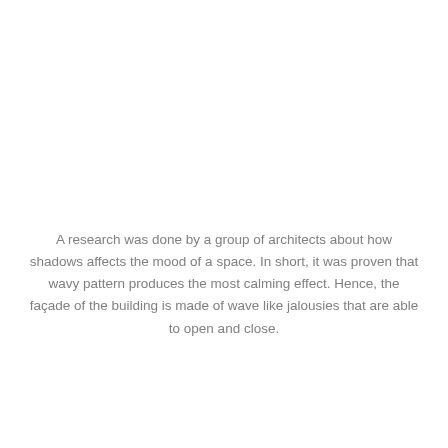A research was done by a group of architects about how shadows affects the mood of a space. In short, it was proven that wavy pattern produces the most calming effect. Hence, the façade of the building is made of wave like jalousies that are able to open and close.